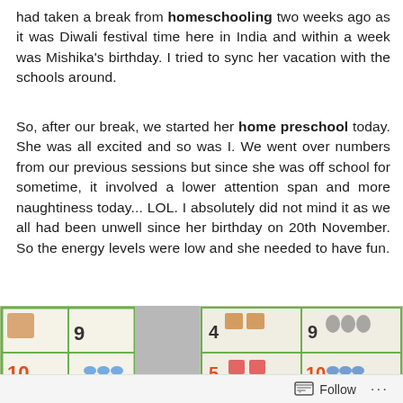had taken a break from homeschooling two weeks ago as it was Diwali festival time here in India and within a week was Mishika's birthday. I tried to sync her vacation with the schools around.
So, after our break, we started her home preschool today. She was all excited and so was I. We went over numbers from our previous sessions but since she was off school for sometime, it involved a lower attention span and more naughtiness today... LOL. I absolutely did not mind it as we all had been unwell since her birthday on 20th November. So the energy levels were low and she needed to have fun.
[Figure (photo): Two photos side by side showing number learning charts with animals and objects. Left photo shows numbers 9 and 10 with colorful illustrated cards. Right photo shows numbers 4, 5, 9, 10 with illustrated animal cards.]
Follow ...